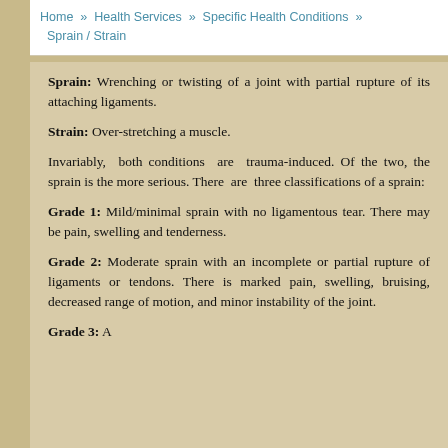Home » Health Services » Specific Health Conditions » Sprain / Strain
Sprain: Wrenching or twisting of a joint with partial rupture of its attaching ligaments.
Strain: Over-stretching a muscle.
Invariably, both conditions are trauma-induced. Of the two, the sprain is the more serious. There are three classifications of a sprain:
Grade 1: Mild/minimal sprain with no ligamentous tear. There may be pain, swelling and tenderness.
Grade 2: Moderate sprain with an incomplete or partial rupture of ligaments or tendons. There is marked pain, swelling, bruising, decreased range of motion, and minor instability of the joint.
Grade 3: ...